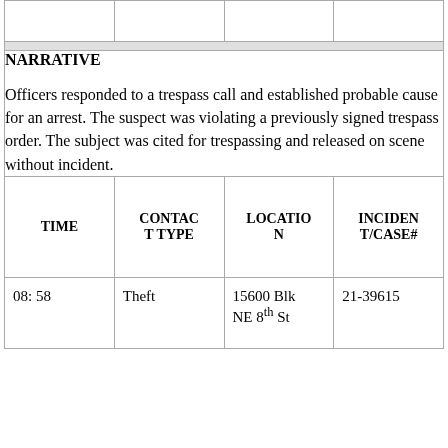|  |  |  |  |
| --- | --- | --- | --- |
|  |  |  |  |
NARRATIVE
Officers responded to a trespass call and established probable cause for an arrest. The suspect was violating a previously signed trespass order. The subject was cited for trespassing and released on scene without incident.
| TIME | CONTACT TYPE | LOCATION | INCIDENT/CASE# |
| --- | --- | --- | --- |
| 08: 58 | Theft | 15600 Blk NE 8th St | 21-39615 |